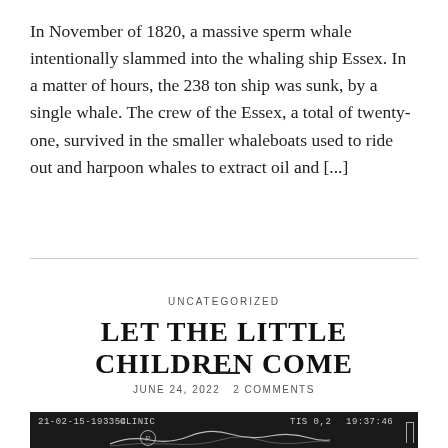In November of 1820, a massive sperm whale intentionally slammed into the whaling ship Essex. In a matter of hours, the 238 ton ship was sunk, by a single whale. The crew of the Essex, a total of twenty-one, survived in the smaller whaleboats used to ride out and harpoon whales to extract oil and [...]
UNCATEGORIZED
LET THE LITTLE CHILDREN COME
JUNE 24, 2022  2 COMMENTS
[Figure (photo): Ultrasound image with metadata overlay showing: 21-02-15-193354, CLINIC, TIS 0,2, 19:37:46, and a P badge marker]